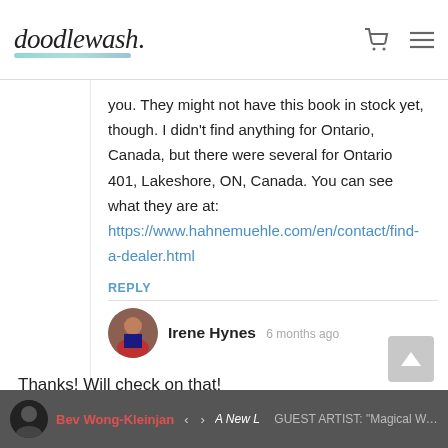doodlewash. [cart icon] [menu icon]
you. They might not have this book in stock yet, though. I didn't find anything for Ontario, Canada, but there were several for Ontario 401, Lakeshore, ON, Canada. You can see what they are at: https://www.hahnemuehle.com/en/contact/find-a-dealer.html
REPLY
Irene Hynes 6 months ago
Thanks! Will check on that!
Bev Wong-Kleinjan A New Leaf < > GUEST ARTIST: "Magical Watercolor" by...